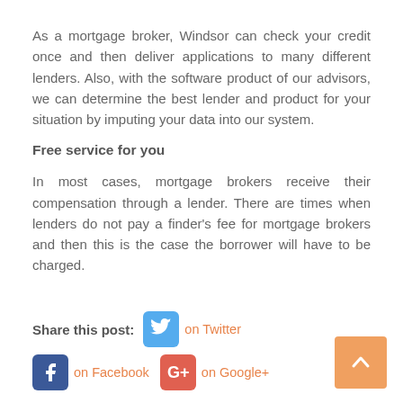As a mortgage broker, Windsor can check your credit once and then deliver applications to many different lenders. Also, with the software product of our advisors, we can determine the best lender and product for your situation by imputing your data into our system.
Free service for you
In most cases, mortgage brokers receive their compensation through a lender. There are times when lenders do not pay a finder's fee for mortgage brokers and then this is the case the borrower will have to be charged.
Share this post:  on Twitter   on Facebook   on Google+